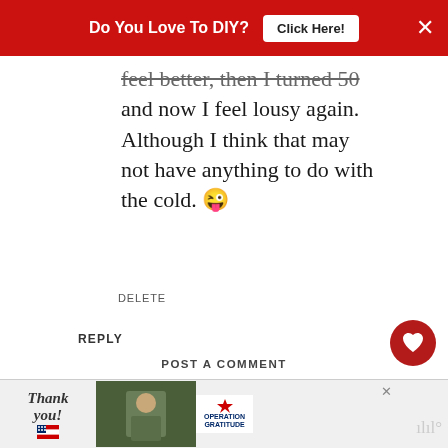[Figure (screenshot): Red ad banner at top: 'Do You Love To DIY? Click Here!' with close X button]
feel better, then I turned 50 and now I feel lousy again. Although I think that may not have anything to do with the cold. 😜
DELETE
REPLY
[Figure (other): Heart (like) button - dark red circle with white heart icon]
[Figure (other): Share button - white circle with share icon]
Enter Comment
WHAT'S NEXT → A Cottage Style Couch...
POST A COMMENT
[Figure (other): Bottom advertisement banner: Thank you with US flag, soldiers photo, Operation Gratitude logo]